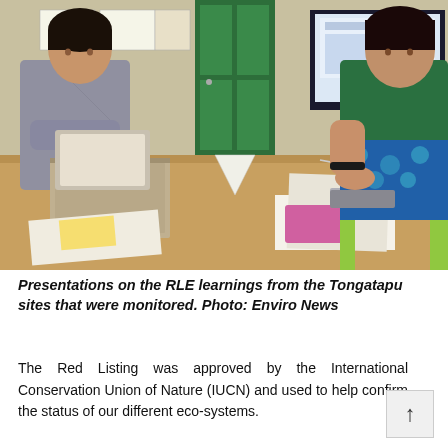[Figure (photo): Two women sitting at a wooden table with laptops and papers. A large monitor is visible in the background near a green door. One woman is on the left in a grey patterned top, the other on the right in a green top with a patterned skirt. They appear to be in a meeting or presentation setting.]
Presentations on the RLE learnings from the Tongatapu sites that were monitored. Photo: Enviro News
The Red Listing was approved by the International Conservation Union of Nature (IUCN) and used to help confirm the status of our different eco-systems.